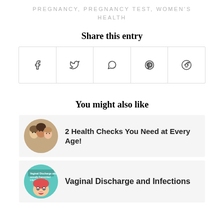PREGNANCY, PREGNANCY TEST, WOMEN'S HEALTH
Share this entry
[Figure (other): Social share buttons: Facebook, Twitter, WhatsApp, Pinterest, Reddit]
You might also like
[Figure (photo): Circular photo of three women/girls of different ages]
2 Health Checks You Need at Every Age!
[Figure (illustration): Circular illustration of a pop-art style woman with text about vaginal discharge and infections]
Vaginal Discharge and Infections